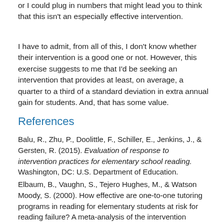or I could plug in numbers that might lead you to think that this isn't an especially effective intervention.
I have to admit, from all of this, I don't know whether their intervention is a good one or not. However, this exercise suggests to me that I'd be seeking an intervention that provides at least, on average, a quarter to a third of a standard deviation in extra annual gain for students. And, that has some value.
References
Balu, R., Zhu, P., Doolittle, F., Schiller, E., Jenkins, J., & Gersten, R. (2015). Evaluation of response to intervention practices for elementary school reading. Washington, DC: U.S. Department of Education.
Elbaum, B., Vaughn, S., Tejero Hughes, M., & Watson Moody, S. (2000). How effective are one-to-one tutoring programs in reading for elementary students at risk for reading failure? A meta-analysis of the intervention research. Journal of Educational Psychology, 93, 605–619.